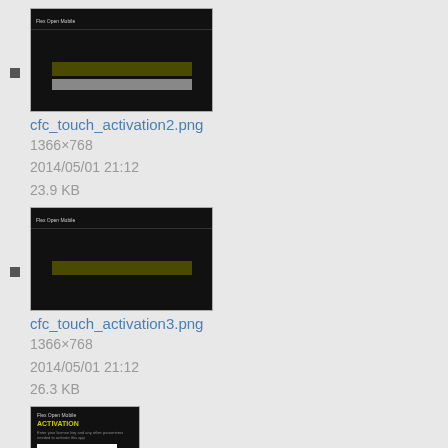[Figure (screenshot): Thumbnail of cfc_touch_activation2.png showing dark screen with a yellow-green bar]
cfc_touch_activation2.png
1366×768
2014/05/01 21:12
23.9 KB
[Figure (screenshot): Thumbnail of cfc_touch_activation3.png showing dark screen with a yellow-green bar]
cfc_touch_activation3.png
1366×768
2014/05/01 21:12
26.3 KB
[Figure (screenshot): Thumbnail of cfc_windowsphone1.png showing ACTIVATION screen on phone]
cfc_windowsphone1.png
768×1280
2014/04/28 17:23
66.1 KB
[Figure (screenshot): Thumbnail of next image showing ACTIVATION screen (partially visible)]